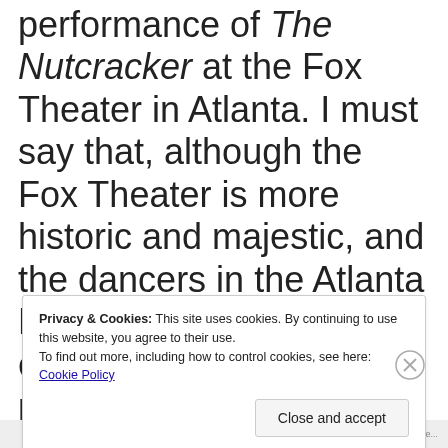performance of The Nutcracker at the Fox Theater in Atlanta. I must say that, although the Fox Theater is more historic and majestic, and the dancers in the Atlanta Ballet are more experienced, the performance that we saw yesterday of the Gwinnett Ballet Theatre
Privacy & Cookies: This site uses cookies. By continuing to use this website, you agree to their use.
To find out more, including how to control cookies, see here: Cookie Policy
Close and accept